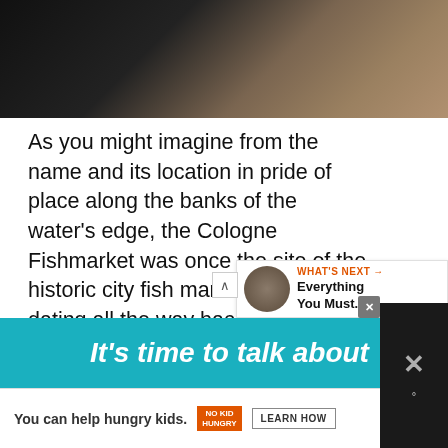[Figure (photo): Top portion of a photo showing dark and light brown textured surfaces, partially cropped]
As you might imagine from the name and its location in pride of place along the banks of the water's edge, the Cologne Fishmarket was once the site of the historic city fish market, with roots dating all the way back to the 13th-century.
[Figure (screenshot): WHAT'S NEXT arrow label with thumbnail and 'Everything You Must...' text]
[Figure (screenshot): Teal advertisement banner reading 'It's time to talk about']
[Figure (screenshot): No Kid Hungry advertisement: 'You can help hungry kids.' with LEARN HOW button]